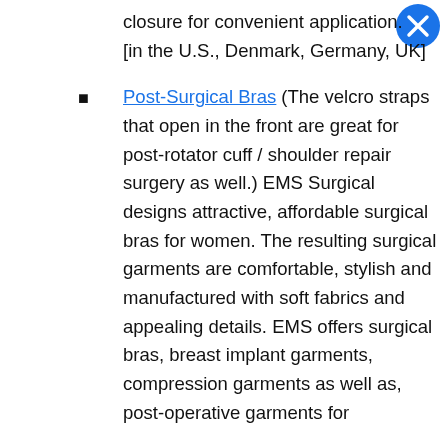closure for convenient application. [in the U.S., Denmark, Germany, UK]
Post-Surgical Bras (The velcro straps that open in the front are great for post-rotator cuff / shoulder repair surgery as well.) EMS Surgical designs attractive, affordable surgical bras for women. The resulting surgical garments are comfortable, stylish and manufactured with soft fabrics and appealing details. EMS offers surgical bras, breast implant garments, compression garments as well as, post-operative garments for